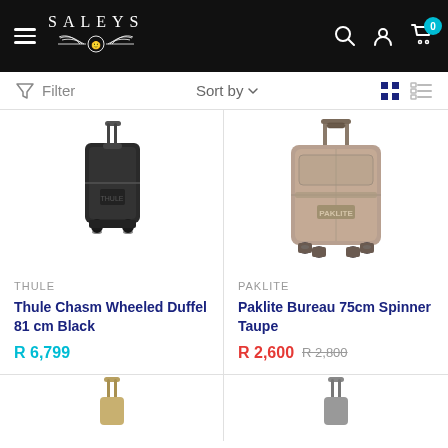SALEYS
Filter   Sort by
[Figure (photo): Thule Chasm Wheeled Duffel 81cm Black luggage product photo]
THULE
Thule Chasm Wheeled Duffel 81cm Black
R 6,799
[Figure (photo): Paklite Bureau 75cm Spinner Taupe luggage product photo]
PAKLITE
Paklite Bureau 75cm Spinner Taupe
R 2,600  R 2,800